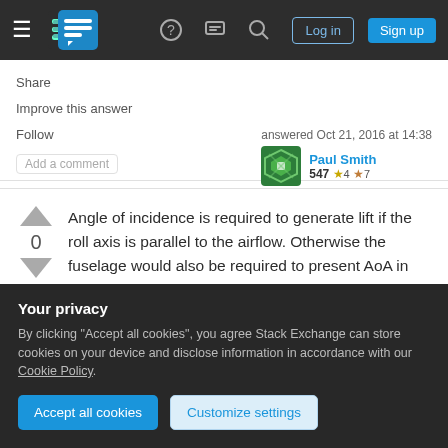Stack Exchange navigation bar with hamburger menu, logo, help, chat, search, Log in, Sign up buttons
Share
Improve this answer
Follow
Add a comment
answered Oct 21, 2016 at 14:38
Paul Smith
547 ★4 ✈7
Angle of incidence is required to generate lift if the roll axis is parallel to the airflow. Otherwise the fuselage would also be required to present AoA in order to generate lift. The wing's AoA = AoA of roll axis + angle of incidence and AoA is the primary creator of lift, not the shape of the wing, contrary to
Your privacy
By clicking "Accept all cookies", you agree Stack Exchange can store cookies on your device and disclose information in accordance with our Cookie Policy.
Accept all cookies
Customize settings